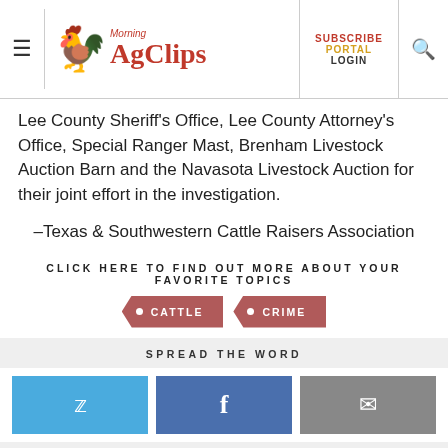Morning AgClips — SUBSCRIBE PORTAL LOGIN
Lee County Sheriff's Office, Lee County Attorney's Office, Special Ranger Mast, Brenham Livestock Auction Barn and the Navasota Livestock Auction for their joint effort in the investigation.
–Texas & Southwestern Cattle Raisers Association
CLICK HERE TO FIND OUT MORE ABOUT YOUR FAVORITE TOPICS
CATTLE
CRIME
SPREAD THE WORD
[Figure (other): Twitter share button]
[Figure (other): Facebook share button]
[Figure (other): Email share button]
BROWSE MORE CLIPS